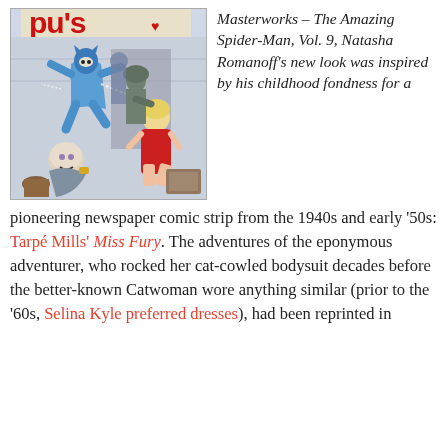[Figure (illustration): Comic book cover/panel from Miss Fury showing a figure in a blue cat-cowled bodysuit leaping, soldiers, and a blonde woman in a red dress]
Masterworks – The Amazing Spider-Man, Vol. 9, Natasha Romanoff's new look was inspired by his childhood fondness for a pioneering newspaper comic strip from the 1940s and early '50s: Tarpé Mills' Miss Fury. The adventures of the eponymous adventurer, who rocked her cat-cowled bodysuit decades before the better-known Catwoman wore anything similar (prior to the '60s, Selina Kyle preferred dresses), had been reprinted in